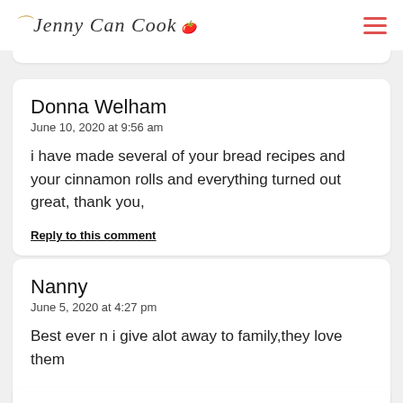Jenny Can Cook
Donna Welham
June 10, 2020 at 9:56 am

i have made several of your bread recipes and your cinnamon rolls and everything turned out great, thank you,

Reply to this comment
Nanny
June 5, 2020 at 4:27 pm

Best ever n i give alot away to family,they love them

Reply to this comment